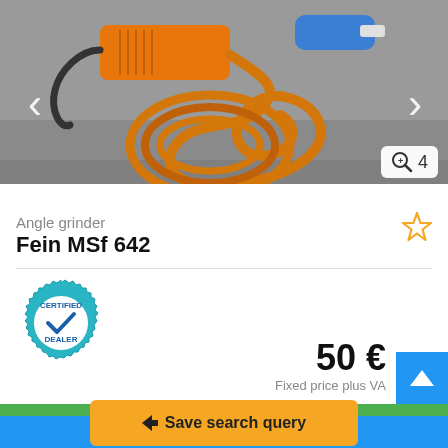[Figure (photo): Angle grinder (Fein MSf 642) with orange coiled power cord, shown on gray concrete surface. Navigation arrows on left and right sides of image. Zoom icon with number 4 in bottom right corner.]
Angle grinder
Fein  MSf 642
[Figure (logo): Certified Dealer badge - teal/blue gear-shaped badge with checkmark and text CERTIFIED DEALER]
50 €
Fixed price plus VA
Save search query
Call